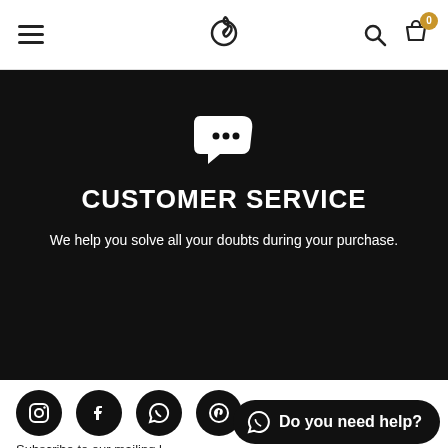Navigation header with hamburger menu, spiral logo, search icon, and cart icon with badge 0
[Figure (illustration): Black hero banner with chat bubble icon, CUSTOMER SERVICE heading, and subtitle text]
CUSTOMER SERVICE
We help you solve all your doubts during your purchase.
[Figure (other): Social media icons: Instagram, Facebook, WhatsApp, Pinterest - black circles]
Subscribe to our mailing list and get a discount on your next purchase.
[Figure (other): WhatsApp Do you need help? button - black pill shape]